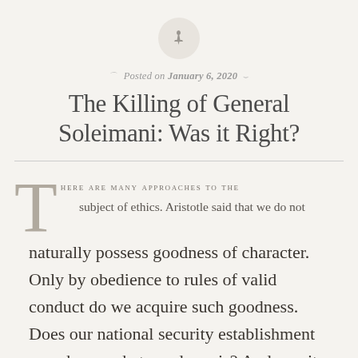[Figure (illustration): A pushpin/thumbtack icon centered in a circular grey badge at the top of the page]
Posted on January 6, 2020
The Killing of General Soleimani: Was it Right?
THERE ARE MANY APPROACHES TO THE subject of ethics. Aristotle said that we do not naturally possess goodness of character. Only by obedience to rules of valid conduct do we acquire such goodness. Does our national security establishment even know what goodness is? And was it right to assassinated General Soleimani?